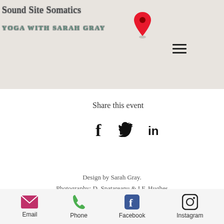[Figure (screenshot): Map screenshot with a red location pin marker, showing a light grey map background with a hamburger menu icon. Overlaid with 'Sound Site Somatics' and 'YOGA WITH SARAH GRAY' text.]
Share this event
[Figure (infographic): Social sharing icons: Facebook (f), Twitter (bird), LinkedIn (in)]
Design by Sarah Gray.
Photography: D. Spatareanu & I.F. Hughes
© 2019 by Sound Site Somatics
[Figure (infographic): Bottom contact bar with Email (envelope icon), Phone (phone icon), Facebook (f icon), Instagram (camera icon) labels]